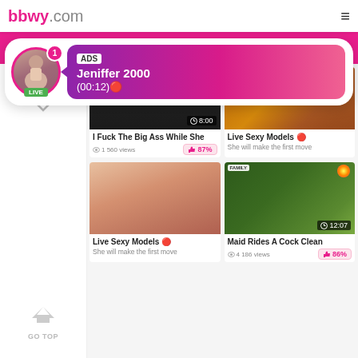bbwy.com
[Figure (screenshot): ADS popup with live avatar of Jeniffer 2000, showing LIVE tag and notification badge, with pink gradient banner showing ADS label, name Jeniffer 2000, and time (00:12)]
[Figure (screenshot): Video thumbnail dark background with duration 8:00]
I Fuck The Big Ass While She
1 560 views
[Figure (screenshot): Video thumbnail warm tones, right side card for Live Sexy Models]
Live Sexy Models 🔴
She will make the first move
[Figure (screenshot): Video thumbnail skin tones close-up]
Live Sexy Models 🔴
She will make the first move
[Figure (screenshot): Video thumbnail green room scene with duration 12:07]
Maid Rides A Cock Clean
4 186 views